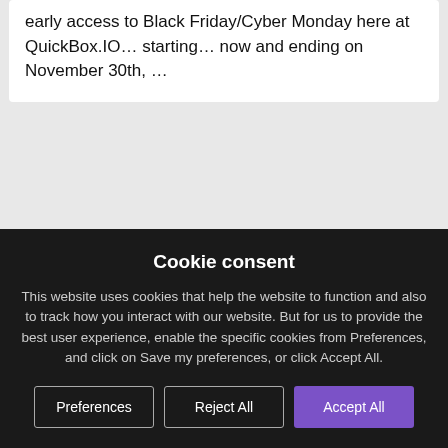early access to Black Friday/Cyber Monday here at QuickBox.IO… starting… now and ending on November 30th, …
[Figure (screenshot): Partial white card below the text card, visible in the background]
Cookie consent
This website uses cookies that help the website to function and also to track how you interact with our website. But for us to provide the best user experience, enable the specific cookies from Preferences, and click on Save my preferences, or click Accept All.
Preferences | Reject All | Accept All